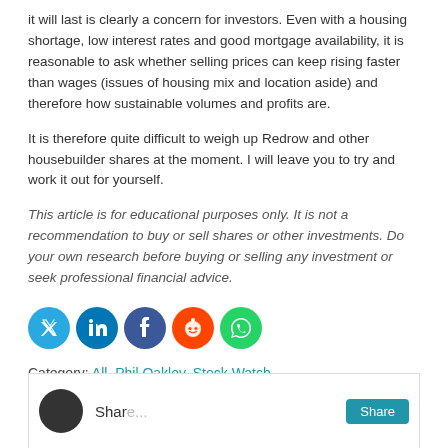it will last is clearly a concern for investors. Even with a housing shortage, low interest rates and good mortgage availability, it is reasonable to ask whether selling prices can keep rising faster than wages (issues of housing mix and location aside) and therefore how sustainable volumes and profits are.
It is therefore quite difficult to weigh up Redrow and other housebuilder shares at the moment. I will leave you to try and work it out for yourself.
This article is for educational purposes only. It is not a recommendation to buy or sell shares or other investments. Do your own research before buying or selling any investment or seek professional financial advice.
[Figure (other): Social media sharing icons: Twitter (blue), LinkedIn (blue), Facebook (dark blue), Reddit (orange), WhatsApp (green)]
Category: All, Phil Oakley, Stock Watch